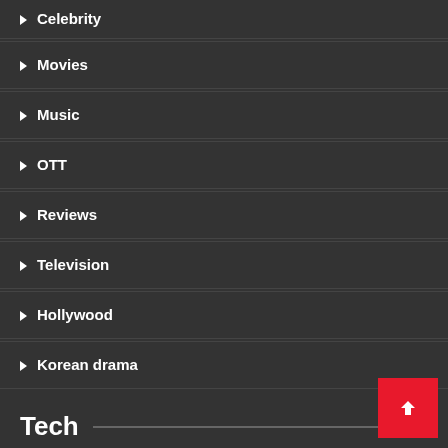Celebrity
Movies
Music
OTT
Reviews
Television
Hollywood
Korean drama
Tech
Apps
Cyber Security